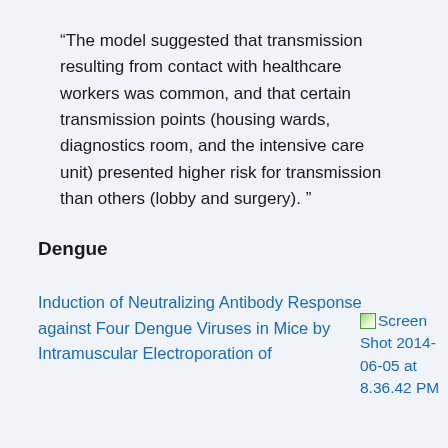“The model suggested that transmission resulting from contact with healthcare workers was common, and that certain transmission points (housing wards, diagnostics room, and the intensive care unit) presented higher risk for transmission than others (lobby and surgery). ”
Dengue
Induction of Neutralizing Antibody Response against Four Dengue Viruses in Mice by Intramuscular Electroporation of
[Figure (screenshot): Screen Shot 2014-06-05 at 8.36.42 PM]